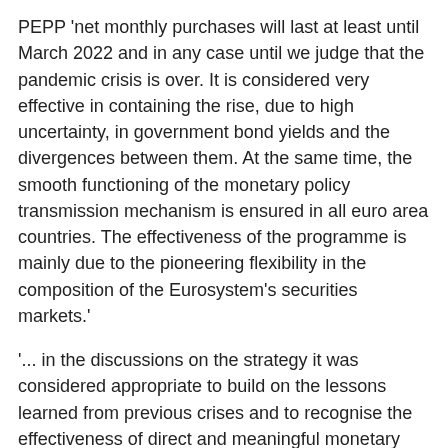PEPP 'net monthly purchases will last at least until March 2022 and in any case until we judge that the pandemic crisis is over. It is considered very effective in containing the rise, due to high uncertainty, in government bond yields and the divergences between them. At the same time, the smooth functioning of the monetary policy transmission mechanism is ensured in all euro area countries. The effectiveness of the programme is mainly due to the pioneering flexibility in the composition of the Eurosystem's securities markets.'
'... in the discussions on the strategy it was considered appropriate to build on the lessons learned from previous crises and to recognise the effectiveness of direct and meaningful monetary intervention through less conventional tools. That is why the recast of the strategy states that, in recognition of the policy interest rate threshold, the Governing Council will use these tools on a case-by-case basis, will continue to respond flexibly to new challenges and will consider new policy instruments when necessary.'